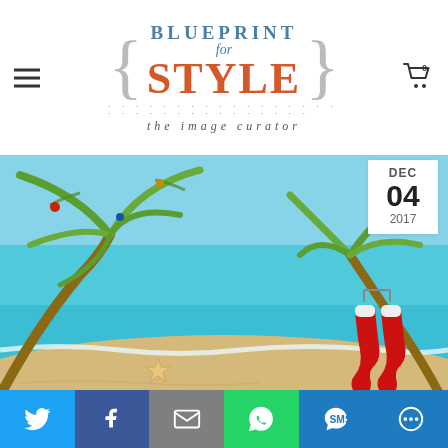[Figure (logo): Blueprint for Style logo with curly braces, tagline 'the image curator']
[Figure (photo): Tropical beach scene with palm fronds decorated with Christmas ornaments and red stockings hanging from the tree, turquoise water and sandy beach]
DEC 04 2017
[Figure (infographic): Social sharing bar with Twitter, Facebook, Email, WhatsApp, SMS, and More buttons]